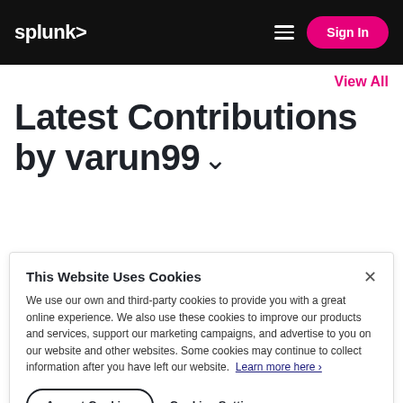splunk> Sign In
View All
Latest Contributions by varun99
This Website Uses Cookies
We use our own and third-party cookies to provide you with a great online experience. We also use these cookies to improve our products and services, support our marketing campaigns, and advertise to you on our website and other websites. Some cookies may continue to collect information after you have left our website. Learn more here ›
Accept Cookies   Cookies Settings ›